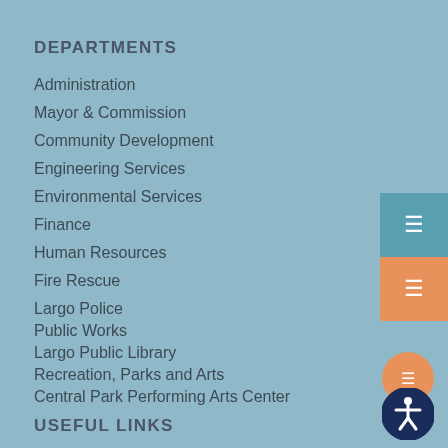DEPARTMENTS
Administration
Mayor & Commission
Community Development
Engineering Services
Environmental Services
Finance
Human Resources
Fire Rescue
Largo Police
Public Works
Largo Public Library
Recreation, Parks and Arts
Central Park Performing Arts Center
USEFUL LINKS
Online City Services
Strategic Plan